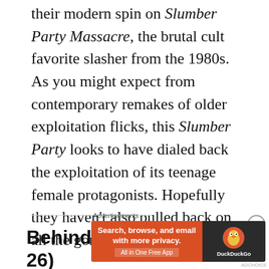their modern spin on Slumber Party Massacre, the brutal cult favorite slasher from the 1980s. As you might expect from contemporary remakes of older exploitation flicks, this Slumber Party looks to have dialed back the exploitation of its teenage female protagonists. Hopefully they haven't also pulled back on all the gory goodness!
Behind the Monsters (Oct. 26)
[Figure (other): DuckDuckGo advertisement banner: orange left panel with text 'Search, browse, and email with more privacy. All in One Free App', dark right panel with DuckDuckGo duck logo and brand name]